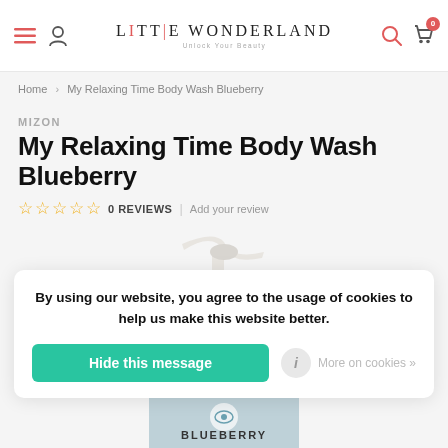Little Wonderland — Unlock Your Beauty
Home > My Relaxing Time Body Wash Blueberry
MIZON
My Relaxing Time Body Wash Blueberry
☆ ☆ ☆ ☆ ☆  0 REVIEWS  |  Add your review
[Figure (photo): Partial view of a body wash pump bottle with a white pump dispenser on top, and partially visible bottle at the bottom showing 'BLUEBERRY' label]
By using our website, you agree to the usage of cookies to help us make this website better.
Hide this message
More on cookies »